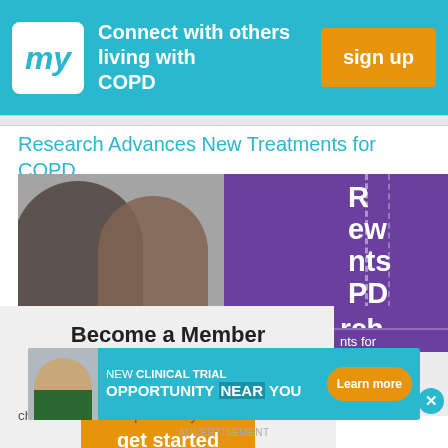[Figure (screenshot): Top banner with 'my' logo, text 'Connect with others living with COPD', and orange 'sign up' button on teal background]
Research Advances New Treatments for COPD
[Figure (photo): Article header image showing two people on left side and purple graphic with text on right side]
[Figure (screenshot): Modal popup: 'Become a Member - Connect with others who are living with COPD.' with orange 'get started' button and X close button]
chronic obstructive pulmonary disease
[Figure (infographic): Advertisement banner: NEW CLINICAL TRIAL OPPORTUNITY NEAR YOU with Learn more button on teal background]
ADVERTISEMENT